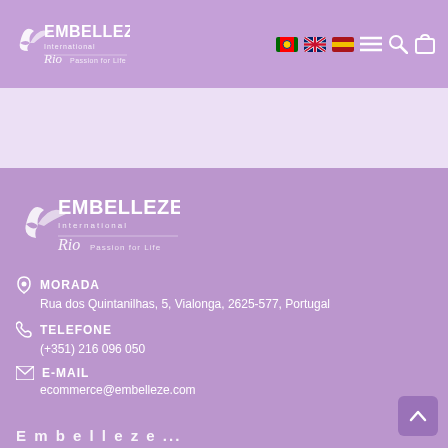[Figure (logo): Embelleze International Rio Passion for Life logo in header bar with purple background, white text]
[Figure (logo): Embelleze International Rio Passion for Life logo in footer section on purple background, white]
MORADA
Rua dos Quintanilhas, 5, Vialonga, 2625-577, Portugal
TELEFONE
(+351) 216 096 050
E-MAIL
ecommerce@embelleze.com